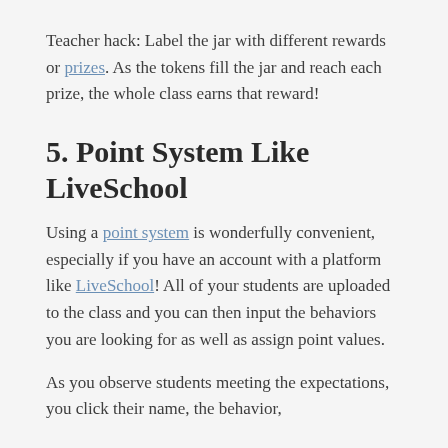Teacher hack: Label the jar with different rewards or prizes. As the tokens fill the jar and reach each prize, the whole class earns that reward!
5. Point System Like LiveSchool
Using a point system is wonderfully convenient, especially if you have an account with a platform like LiveSchool! All of your students are uploaded to the class and you can then input the behaviors you are looking for as well as assign point values.
As you observe students meeting the expectations, you click their name, the behavior,